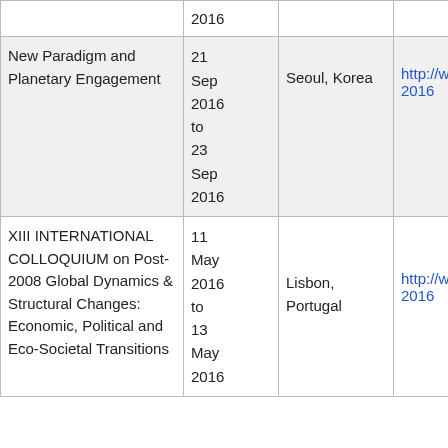| Event | Date | Location | URL |
| --- | --- | --- | --- |
|  | 2016 |  |  |
| New Paradigm and Planetary Engagement | 21 Sep 2016 to 23 Sep 2016 | Seoul, Korea | http://www.worldacad... 2016 |
| XIII INTERNATIONAL COLLOQUIUM on Post-2008 Global Dynamics & Structural Changes: Economic, Political and Eco-Societal Transitions | 11 May 2016 to 13 May 2016 | Lisbon, Portugal | http://www.worldacad... 2016 |